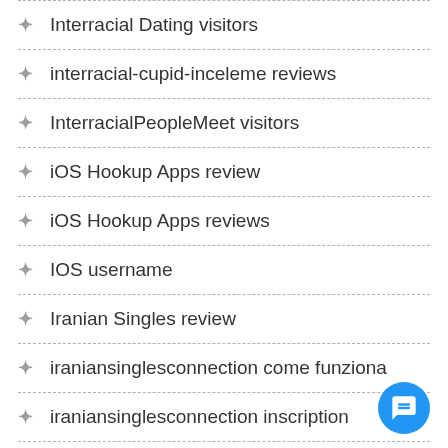Interracial Dating visitors
interracial-cupid-inceleme reviews
InterracialPeopleMeet visitors
iOS Hookup Apps review
iOS Hookup Apps reviews
IOS username
Iranian Singles review
iraniansinglesconnection come funziona
iraniansinglesconnection inscription
iraniansinglesconnection nasil kullanilir
IranianSinglesConnection review